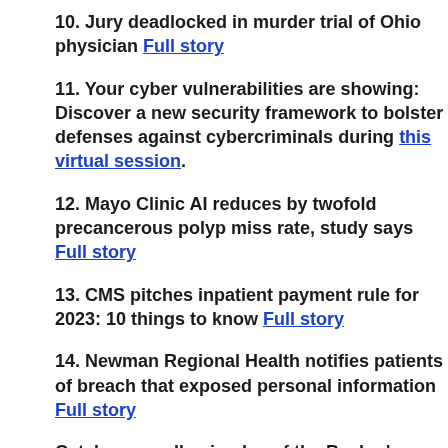10. Jury deadlocked in murder trial of Ohio physician Full story
11. Your cyber vulnerabilities are showing: Discover a new security framework to bolster defenses against cybercriminals during this virtual session.
12. Mayo Clinic AI reduces by twofold precancerous polyp miss rate, study says Full story
13. CMS pitches inpatient payment rule for 2023: 10 things to know Full story
14. Newman Regional Health notifies patients of breach that exposed personal information Full story
Catch up on all episodes of the Becker's Digital Health Podcast here!